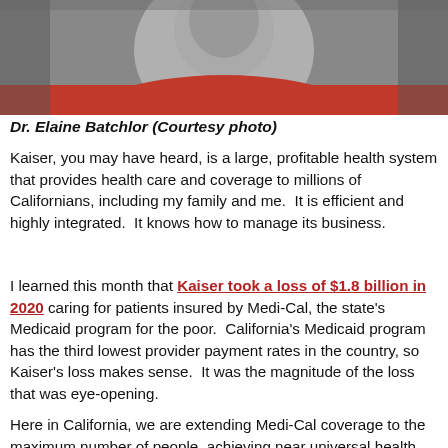[Figure (photo): Photo of Dr. Elaine Batchlor wearing a red jacket, cropped at the top of the page (courtesy photo).]
Dr. Elaine Batchlor (Courtesy photo)
Kaiser, you may have heard, is a large, profitable health system that provides health care and coverage to millions of Californians, including my family and me.  It is efficient and highly integrated.  It knows how to manage its business.
I learned this month that Kaiser took a loss of $1.8 billion in 2020 caring for patients insured by Medi-Cal, the state's Medicaid program for the poor.  California's Medicaid program has the third lowest provider payment rates in the country, so Kaiser's loss makes sense.  It was the magnitude of the loss that was eye-opening.
Here in California, we are extending Medi-Cal coverage to the maximum number of people, achieving near universal health coverage. The state's new CalAIM program accomplishes this by extending eligibility to the last low-